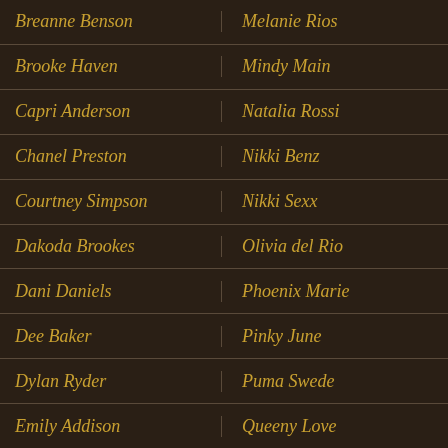| Breanne Benson | Melanie Rios |
| Brooke Haven | Mindy Main |
| Capri Anderson | Natalia Rossi |
| Chanel Preston | Nikki Benz |
| Courtney Simpson | Nikki Sexx |
| Dakoda Brookes | Olivia del Rio |
| Dani Daniels | Phoenix Marie |
| Dee Baker | Pinky June |
| Dylan Ryder | Puma Swede |
| Emily Addison | Queeny Love |